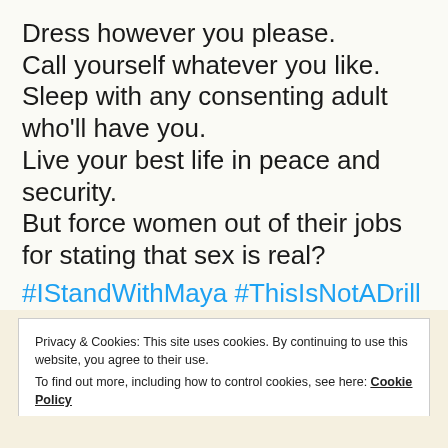Dress however you please.
Call yourself whatever you like.
Sleep with any consenting adult who'll have you.
Live your best life in peace and security.
But force women out of their jobs for stating that sex is real?
#IStandWithMaya #ThisIsNotADrill
Privacy & Cookies: This site uses cookies. By continuing to use this website, you agree to their use.
To find out more, including how to control cookies, see here: Cookie Policy
Close and accept